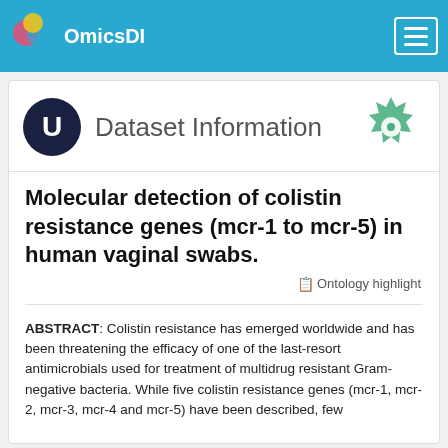OmicsDI
Dataset Information
Molecular detection of colistin resistance genes (mcr-1 to mcr-5) in human vaginal swabs.
Ontology highlight
ABSTRACT: Colistin resistance has emerged worldwide and has been threatening the efficacy of one of the last-resort antimicrobials used for treatment of multidrug resistant Gram-negative bacteria. While five colistin resistance genes (mcr-1, mcr-2, mcr-3, mcr-4 and mcr-5) have been described, few